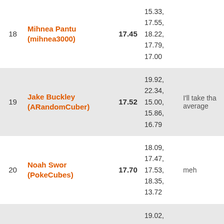| Rank | Name | Average | Times | Comment |
| --- | --- | --- | --- | --- |
| 18 | Mihnea Pantu (mihnea3000) | 17.45 | 15.33, 17.55, 18.22, 17.79, 17.00 |  |
| 19 | Jake Buckley (ARandomCuber) | 17.52 | 19.92, 22.34, 15.00, 15.86, 16.79 | I'll take that average |
| 20 | Noah Swor (PokeCubes) | 17.70 | 18.09, 17.47, 17.53, 18.35, 13.72 | meh |
| 21 | Justin Park (CubicOreo) | 18.14 | 19.02, 17.67, 17.73, 27.98, 16.76 |  |
|  |  |  | 20.29 |  |